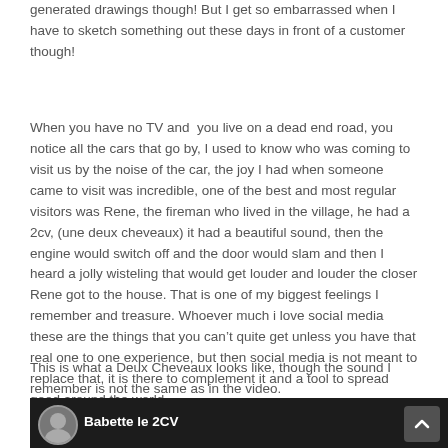generated drawings though! But I get so embarrassed when I have to sketch something out these days in front of a customer though!
When you have no TV and you live on a dead end road, you notice all the cars that go by, I used to know who was coming to visit us by the noise of the car, the joy I had when someone came to visit was incredible, one of the best and most regular visitors was Rene, the fireman who lived in the village, he had a 2cv, (une deux cheveaux) it had a beautiful sound, then the engine would switch off and the door would slam and then I heard a jolly wisteling that would get louder and louder the closer Rene got to the house. That is one of my biggest feelings I remember and treasure. Whoever much i love social media these are the things that you can't quite get unless you have that real one to one experience, but then social media is not meant to replace that, it is there to complement it and a tool to spread good around the world.
This is what a Deux Cheveaux looks like, though the sound I remember is not the same as in the video.
[Figure (screenshot): A video thumbnail showing 'Babette le 2CV' with a circular avatar on the left, white title text, and a dark control button on the right. Below is a car scene with green foliage background.]